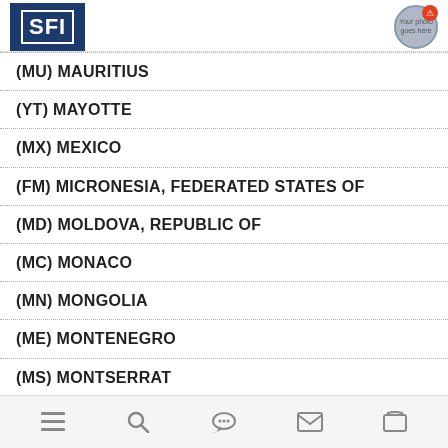SFI logo and user avatar
(MU) MAURITIUS
(YT) MAYOTTE
(MX) MEXICO
(FM) MICRONESIA, FEDERATED STATES OF
(MD) MOLDOVA, REPUBLIC OF
(MC) MONACO
(MN) MONGOLIA
(ME) MONTENEGRO
(MS) MONTSERRAT
(MA) MOROCCO
(MZ) MOZAMBIQUE
Navigation icons: menu, search, chat, email, support